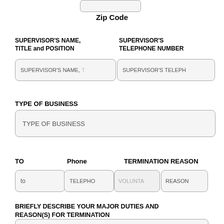Zip Code
SUPERVISOR'S NAME, TITLE and POSITION
SUPERVISOR'S TELEPHONE NUMBER
SUPERVISOR'S NAME,
SUPERVISOR'S TELEPH
TYPE OF BUSINESS
TYPE OF BUSINESS
TO
Phone
TERMINATION REASON
to
TELEPHO
VOLUNTA
REASON
BRIEFLY DESCRIBE YOUR MAJOR DUTIES AND REASON(S) FOR TERMINATION